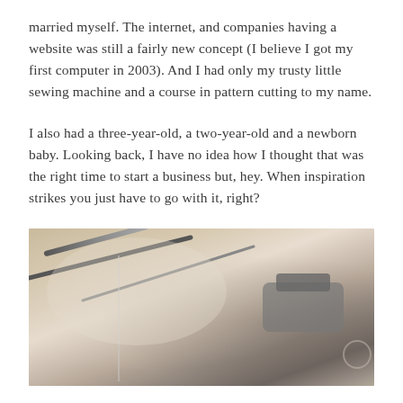married myself. The internet, and companies having a website was still a fairly new concept (I believe I got my first computer in 2003). And I had only my trusty little sewing machine and a course in pattern cutting to my name.
I also had a three-year-old, a two-year-old and a newborn baby. Looking back, I have no idea how I thought that was the right time to start a business but, hey. When inspiration strikes you just have to go with it, right?
[Figure (photo): Close-up photograph of a sewing machine, showing the needle arm and machine parts in soft focus with warm sepia tones]